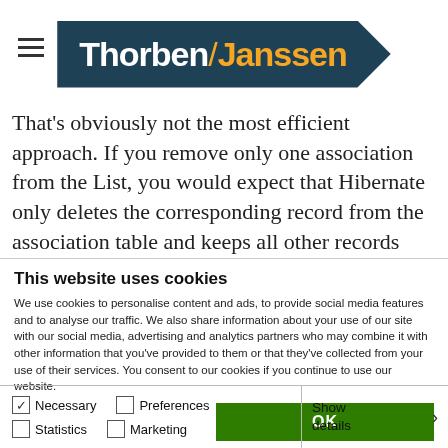Thorben Janssen
That's obviously not the most efficient approach. If you remove only one association from the List, you would expect that Hibernate only deletes the corresponding record from the association table and keeps all other records untouched. You can achieve that by mapping the association as a ...
This website uses cookies
We use cookies to personalise content and ads, to provide social media features and to analyse our traffic. We also share information about your use of our site with our social media, advertising and analytics partners who may combine it with other information that you've provided to them or that they've collected from your use of their services. You consent to our cookies if you continue to use our website.
OK
Necessary  Preferences  Statistics  Marketing  Show details